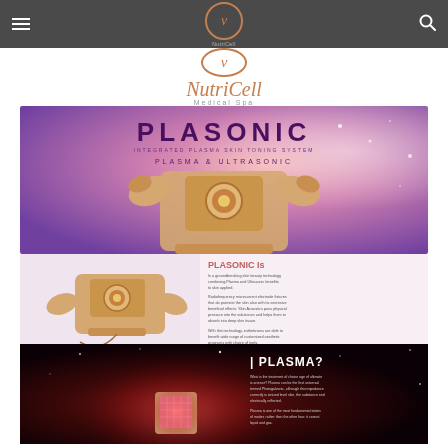NutriCell Medical Spa - navigation bar
[Figure (logo): NutriCell Medical Spa logo with cursive text and circular emblem in rose gold]
[Figure (photo): PLASONIC device advertisement banner with purple/pink gradient background showing PLASONIC machine. Text: PLASONIC, PLASMA & ULTRASONIC]
[Figure (photo): PLASONIC Is section showing device closeup on pink background with descriptive text about plasma and ultrasonic technology]
[Figure (photo): PLASMA section on dark space-like background with glowing device and text asking I PLASMA?]